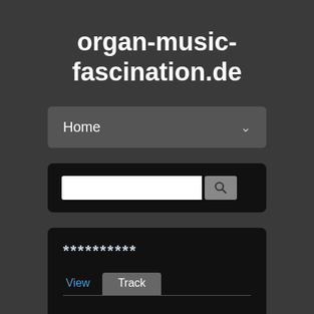organ-music-fascination.de
Home
[Figure (screenshot): Search bar with text input field and search button icon]
**********
View   Track